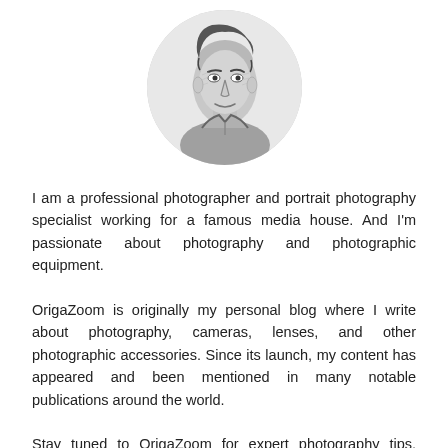[Figure (illustration): Circular portrait sketch illustration of a person, rendered in pencil/sketch style, black and white, shown from shoulders up]
I am a professional photographer and portrait photography specialist working for a famous media house. And I'm passionate about photography and photographic equipment.
OrigaZoom is originally my personal blog where I write about photography, cameras, lenses, and other photographic accessories. Since its launch, my content has appeared and been mentioned in many notable publications around the world.
Stay tuned to OrigaZoom for expert photography tips, reviews,